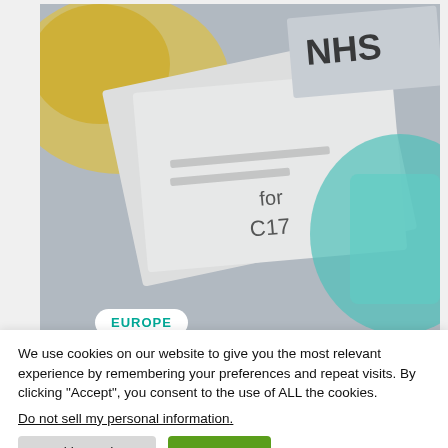[Figure (photo): A close-up photo of NHS prescription forms and medical items including a yellow capsule pill and a blue face mask. A white rounded badge overlay in the bottom-left reads 'EUROPE' in teal text.]
We use cookies on our website to give you the most relevant experience by remembering your preferences and repeat visits. By clicking “Accept”, you consent to the use of ALL the cookies.
Do not sell my personal information.
Cookie Settings
Accept